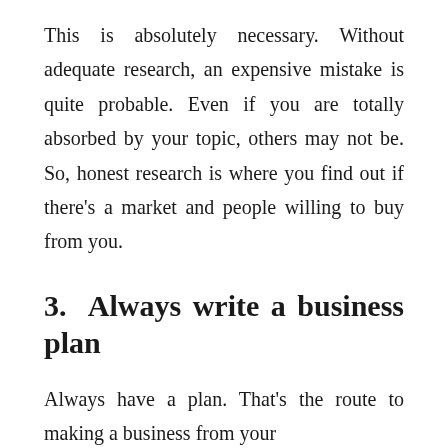This is absolutely necessary. Without adequate research, an expensive mistake is quite probable. Even if you are totally absorbed by your topic, others may not be. So, honest research is where you find out if there's a market and people willing to buy from you.
3. Always write a business plan
Always have a plan. That's the route to making a business from your